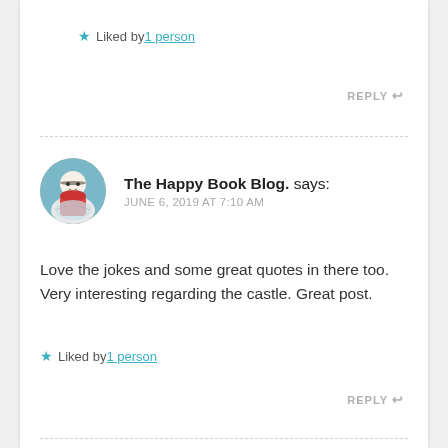★ Liked by 1 person
REPLY ↩
The Happy Book Blog. says: JUNE 6, 2019 AT 7:10 AM
Love the jokes and some great quotes in there too. Very interesting regarding the castle. Great post.
★ Liked by 1 person
REPLY ↩